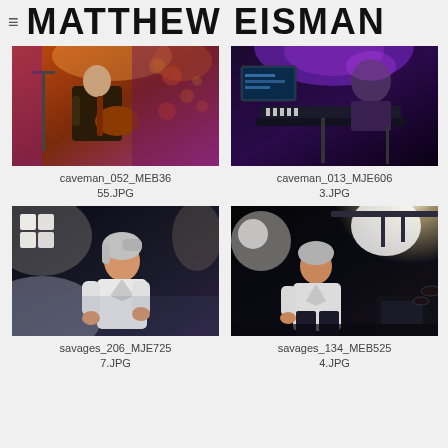MATTHEW EISMAN
[Figure (photo): Concert photo: guitarist in suit performing on stage with orange/purple stage lighting]
caveman_052_MEB3655.JPG
[Figure (photo): Concert photo: musician at keyboard/synthesizer with purple lighting from above, dark venue]
caveman_013_MJE6063.JPG
[Figure (photo): Concert photo: female singer with short hair in white shirt under bright stage spotlights, moody lighting]
savages_206_MJE7257.JPG
[Figure (photo): Concert photo: female performer in white shirt on stage with bright backlighting and drum kit visible]
savages_134_MEB5254.JPG